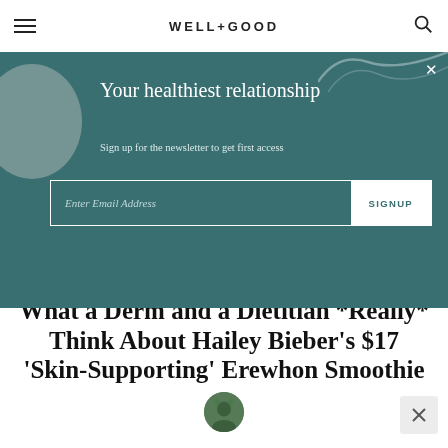WELL+GOOD
Your healthiest relationship
Sign up for the newsletter to get first access
Enter Email Address  SIGNUP
What a Derm and a Dietitian *Really* Think About Hailey Bieber's $17 'Skin-Supporting' Erewhon Smoothie
[Figure (photo): Author circular avatar photo]